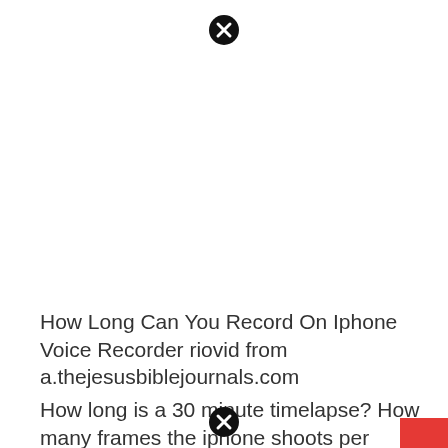[Figure (other): Black circle with white X close button icon at top center]
How Long Can You Record On Iphone Voice Recorder riovid from a.thejesusbiblejournals.com
How long is a 30 minute timelapse? How many frames the iphone shoots per second is entirely dependen
[Figure (other): Black circle with white X close button icon at bottom center]
[Figure (other): Red rectangle box at bottom right corner]